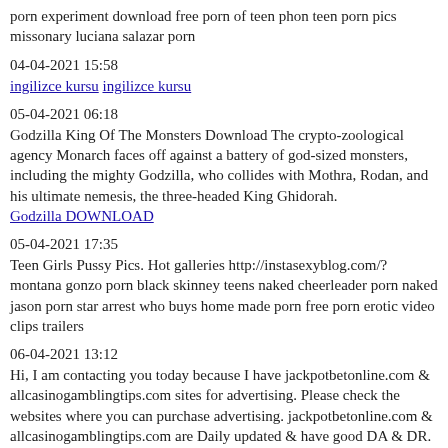porn experiment download free porn of teen phon teen porn pics missonary luciana salazar porn
04-04-2021 15:58
ingilizce kursu ingilizce kursu
05-04-2021 06:18
Godzilla King Of The Monsters Download The crypto-zoological agency Monarch faces off against a battery of god-sized monsters, including the mighty Godzilla, who collides with Mothra, Rodan, and his ultimate nemesis, the three-headed King Ghidorah.
Godzilla DOWNLOAD
05-04-2021 17:35
Teen Girls Pussy Pics. Hot galleries http://instasexyblog.com/? montana gonzo porn black skinney teens naked cheerleader porn naked jason porn star arrest who buys home made porn free porn erotic video clips trailers
06-04-2021 13:12
Hi, I am contacting you today because I have jackpotbetonline.com & allcasinogamblingtips.com sites for advertising. Please check the websites where you can purchase advertising. jackpotbetonline.com & allcasinogamblingtips.com are Daily updated & have good DA & DR. The following advertising options are available: Text Links, Article Posting (max of 3 links per